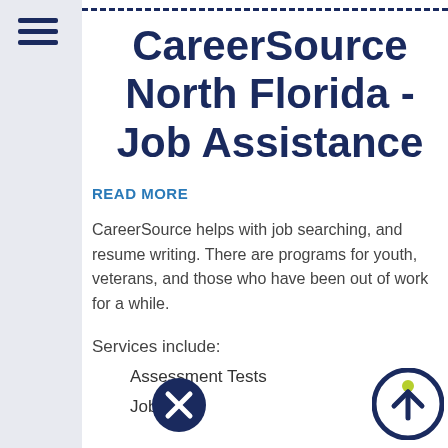CareerSource North Florida - Job Assistance
READ MORE
CareerSource helps with job searching, and resume writing. There are programs for youth, veterans, and those who have been out of work for a while.
Services include:
Assessment Tests
Job Bank
[Figure (logo): Circle with X close button icon, dark navy background]
[Figure (logo): CareerSource logo — navy circle with green/yellow person figure and upward arrow]